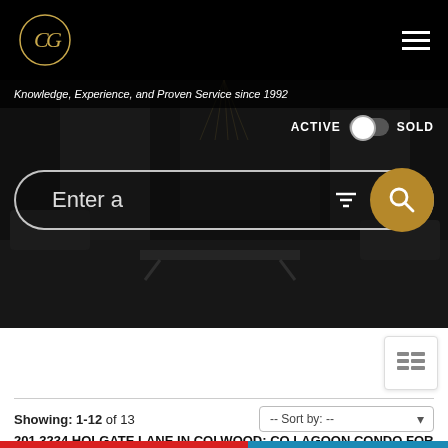CG logo and navigation header
Knowledge, Experience, and Proven Service since 1992
[Figure (screenshot): Dark interior living room photo used as hero background with search interface overlay. Shows ACTIVE/SOLD toggle, search input field with 'Enter a' placeholder, filter icon, and gold search button.]
Showing: 1-12 of 13
-- Sort by: --
201 3234 HOLGATE LANE IN COLWOOD: CO LAGOON CONDO FOR SALE : MLS®# 896746